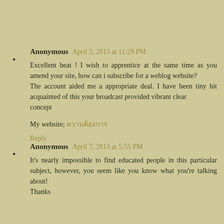Anonymous April 2, 2013 at 11:29 PM
Excellent beat ! I wish to apprentice at the same time as you amend your site, how can i subscribe for a weblog website?
The account aided me a appropriate deal. I have been tiny bit acquainted of this your broadcast provided vibrant clear
concept

My website; [text in non-Latin script]

Reply
Anonymous April 7, 2013 at 5:55 PM
It's nearly impossible to find educated people in this particular subject, however, you seem like you know what you're talking about!
Thanks